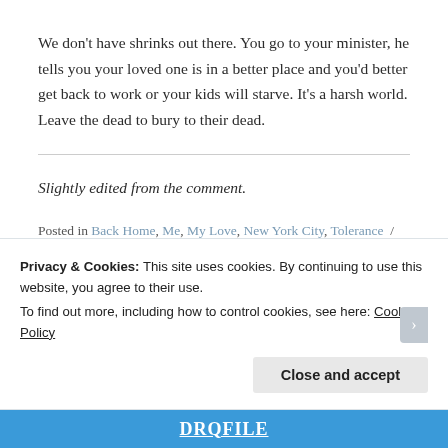We don't have shrinks out there. You go to your minister, he tells you your loved one is in a better place and you'd better get back to work or your kids will starve. It's a harsh world. Leave the dead to bury to their dead.
Slightly edited from the comment.
Posted in Back Home, Me, My Love, New York City, Tolerance / Tagged
Privacy & Cookies: This site uses cookies. By continuing to use this website, you agree to their use.
To find out more, including how to control cookies, see here: Cookie Policy